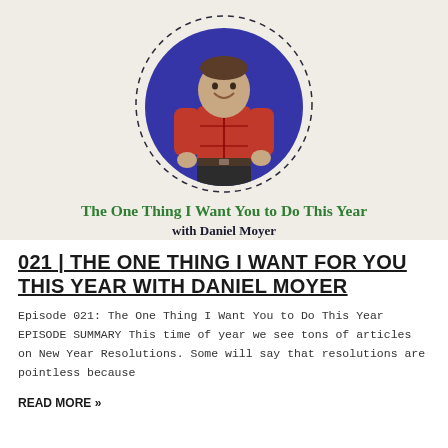[Figure (photo): Podcast cover image showing a man in a red plaid shirt smiling, inside a circular blue background, with decorative circular dashed outline around it, on a beige/cream background. Text below reads 'The One Thing I Want You to Do This Year' in green bold serif, and 'with Daniel Moyer' in dark bold serif.]
021 | THE ONE THING I WANT FOR YOU THIS YEAR WITH DANIEL MOYER
Episode 021: The One Thing I Want You to Do This Year EPISODE SUMMARY This time of year we see tons of articles on New Year Resolutions. Some will say that resolutions are pointless because
READ MORE »